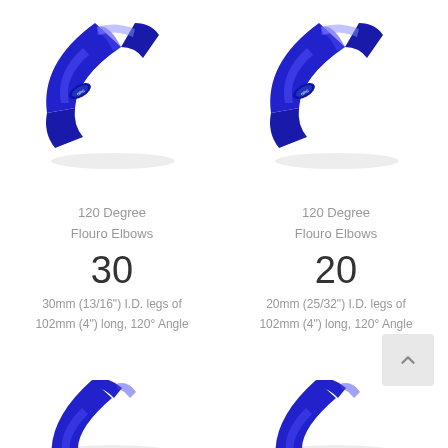[Figure (photo): Blue silicone 120-degree elbow hose fitting, left product]
[Figure (photo): Blue silicone 120-degree elbow hose fitting, right product]
120 Degree
Flouro Elbows
30
30mm (13/16") I.D. legs of 102mm (4") long, 120° Angle
120 Degree
Flouro Elbows
20
20mm (25/32") I.D. legs of 102mm (4") long, 120° Angle
[Figure (photo): Blue silicone elbow hose, bottom left, partially visible]
[Figure (photo): Blue silicone elbow hose, bottom right, partially visible]